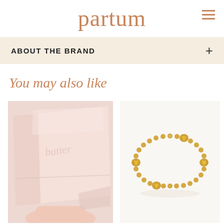partum
ABOUT THE BRAND
You may also like
[Figure (photo): Pink satin pillow/pillowcase with script 'butter' text, held by a hand]
[Figure (photo): Gold beaded stretch bracelet with heart-shaped gold disc accents on white background]